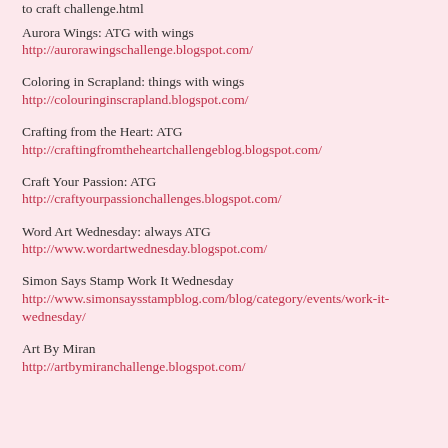to craft challenge.html
Aurora Wings: ATG with wings
http://aurorawingschallenge.blogspot.com/
Coloring in Scrapland: things with wings
http://colouringinscrapland.blogspot.com/
Crafting from the Heart: ATG
http://craftingfromtheheartchallengeblog.blogspot.com/
Craft Your Passion: ATG
http://craftyourpassionchallenges.blogspot.com/
Word Art Wednesday: always ATG
http://www.wordartwednesday.blogspot.com/
Simon Says Stamp Work It Wednesday
http://www.simonsaysstampblog.com/blog/category/events/work-it-wednesday/
Art By Miran
http://artbymiranchallenge.blogspot.com/